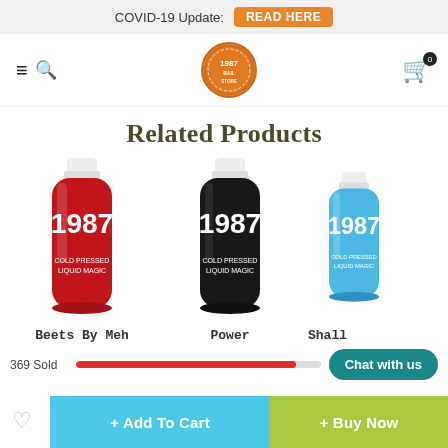COVID-19 Update: READ HERE
[Figure (screenshot): Navigation bar with hamburger menu, search icon, 1987 brand logo circle, and shopping cart icon with badge showing 0]
Related Products
[Figure (photo): Three 1987 cold pressed juice bottles: a red bottle (Beets By Meh), a black bottle (Power), and a blue bottle (Shall...) partially visible]
Beets By Meh
Power
Shall
369 Sold
Chat with us
+ Add To Cart
+ Buy Now